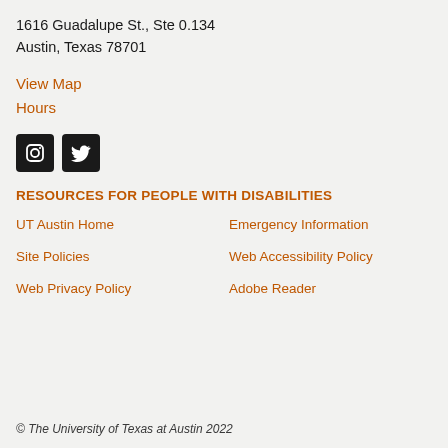1616 Guadalupe St., Ste 0.134
Austin, Texas 78701
View Map
Hours
[Figure (illustration): Instagram and Twitter social media icons in dark square backgrounds]
RESOURCES FOR PEOPLE WITH DISABILITIES
UT Austin Home
Emergency Information
Site Policies
Web Accessibility Policy
Web Privacy Policy
Adobe Reader
© The University of Texas at Austin 2022